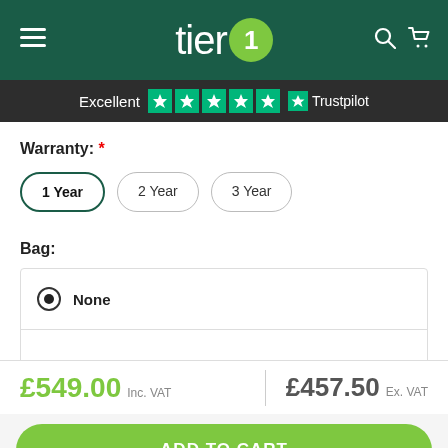tier1
Excellent ★★★★★ Trustpilot
Warranty: *
1 Year
2 Year
3 Year
Bag:
None
£549.00 Inc. VAT | £457.50 Ex. VAT
ADD TO CART